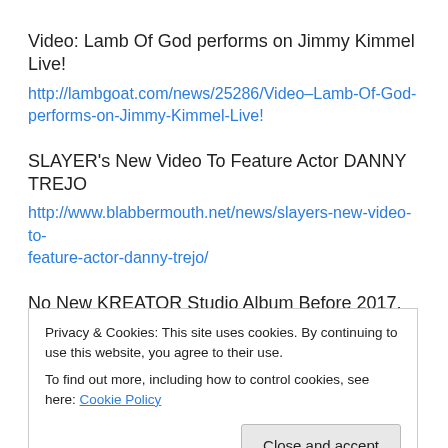Video: Lamb Of God performs on Jimmy Kimmel Live!
http://lambgoat.com/news/25286/Video–Lamb-Of-God-performs-on-Jimmy-Kimmel-Live!
SLAYER's New Video To Feature Actor DANNY TREJO
http://www.blabbermouth.net/news/slayers-new-video-to-feature-actor-danny-trejo/
No New KREATOR Studio Album Before 2017, Says MILLE PETROZZA
Privacy & Cookies: This site uses cookies. By continuing to use this website, you agree to their use.
To find out more, including how to control cookies, see here: Cookie Policy
Close and accept
http://www.blabbermouth.net/news/rammstein-